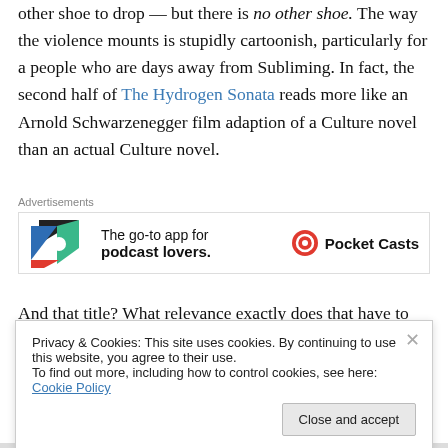other shoe to drop — but there is no other shoe. The way the violence mounts is stupidly cartoonish, particularly for a people who are days away from Subliming. In fact, the second half of The Hydrogen Sonata reads more like an Arnold Schwarzenegger film adaption of a Culture novel than an actual Culture novel.
[Figure (other): Advertisement for Pocket Casts: 'The go-to app for podcast lovers.' with colorful geometric icon and Pocket Casts logo.]
And that title? What relevance exactly does that have to the story? I know Banks' Culture novels usually boast titles...
Privacy & Cookies: This site uses cookies. By continuing to use this website, you agree to their use.
To find out more, including how to control cookies, see here: Cookie Policy